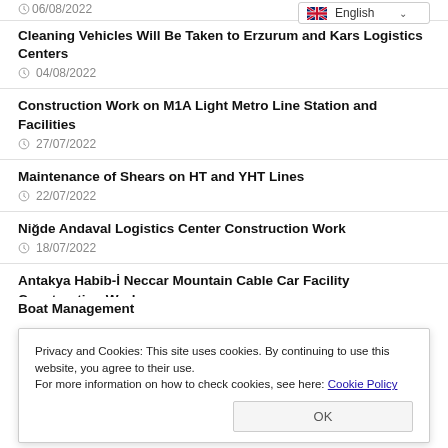06/08/2022
Cleaning Vehicles Will Be Taken to Erzurum and Kars Logistics Centers
04/08/2022
Construction Work on M1A Light Metro Line Station and Facilities
27/07/2022
Maintenance of Shears on HT and YHT Lines
22/07/2022
Niğde Andaval Logistics Center Construction Work
18/07/2022
Antakya Habib-İ Neccar Mountain Cable Car Facility Construction Work
Privacy and Cookies: This site uses cookies. By continuing to use this website, you agree to their use.
For more information on how to check cookies, see here: Cookie Policy
Boat Management